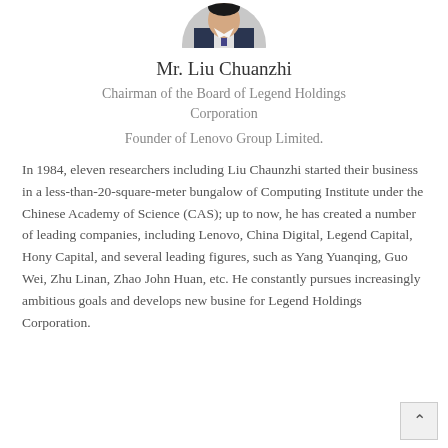[Figure (photo): Circular cropped portrait photo of Mr. Liu Chuanzhi, a man in a suit and tie]
Mr. Liu Chuanzhi
Chairman of the Board of Legend Holdings Corporation
Founder of Lenovo Group Limited.
In 1984, eleven researchers including Liu Chaunzhi started their business in a less-than-20-square-meter bungalow of Computing Institute under the Chinese Academy of Science (CAS); up to now, he has created a number of leading companies, including Lenovo, China Digital, Legend Capital, Hony Capital, and several leading figures, such as Yang Yuanqing, Guo Wei, Zhu Linan, Zhao John Huan, etc. He constantly pursues increasingly ambitious goals and develops new busine for Legend Holdings Corporation.